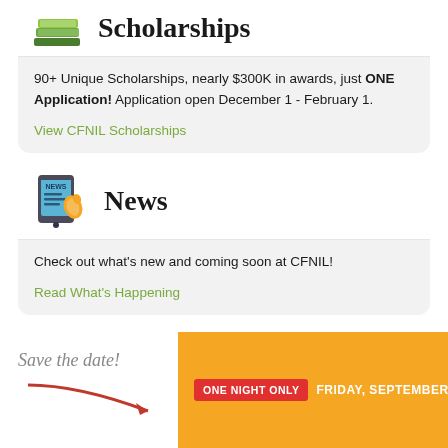[Figure (illustration): Scholarships section card with green book stack icon and title 'Scholarships']
90+ Unique Scholarships, nearly $300K in awards, just ONE Application! Application open December 1 - February 1.
View CFNIL Scholarships
[Figure (illustration): News section card with smartphone/news icon and title 'News']
Check out what's new and coming soon at CFNIL!
Read What's Happening
Save the date!
ONE NIGHT ONLY  FRIDAY, SEPTEMBER 16